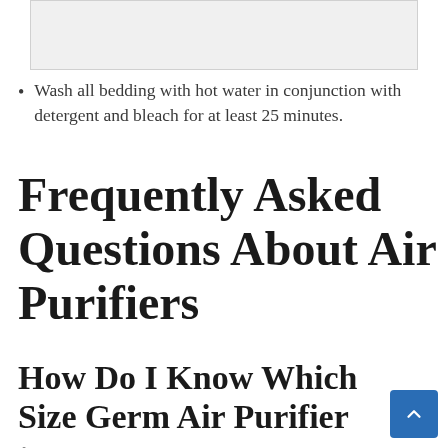[Figure (other): Cropped image placeholder at top of page]
Wash all bedding with hot water in conjunction with detergent and bleach for at least 25 minutes.
Frequently Asked Questions About Air Purifiers
How Do I Know Which Size Germ Air Purifier to Choose?